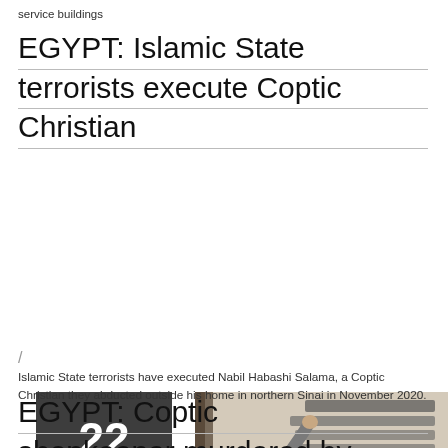service buildings
EGYPT: Islamic State terrorists execute Coptic Christian
[Figure (photo): Date badge showing 22 APR 2021 on dark background with arrow/chevron shape on right side, next to a photo of a man reaching up to write or read text on a wall with Arabic writing]
Islamic State terrorists have executed Nabil Habashi Salama, a Coptic Christian they abducted outside his home in northern Sinai in November 2020.
EGYPT: Coptic shopkeeper murdered by